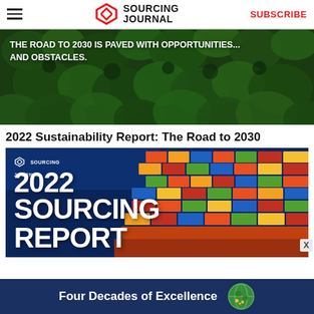SOURCING JOURNAL | SUBSCRIBE
[Figure (photo): Aerial view of dense green forest canopy with overlaid text: THE ROAD TO 2030 IS PAVED WITH OPPORTUNITIES... AND OBSTACLES.]
2022 Sustainability Report: The Road to 2030
[Figure (photo): Promotional image for 2022 Sourcing Report showing colorful shipping containers on a cargo ship with text '2022 SOURCING REPORT' and Sourcing Journal logo]
Four Decades of Excellence